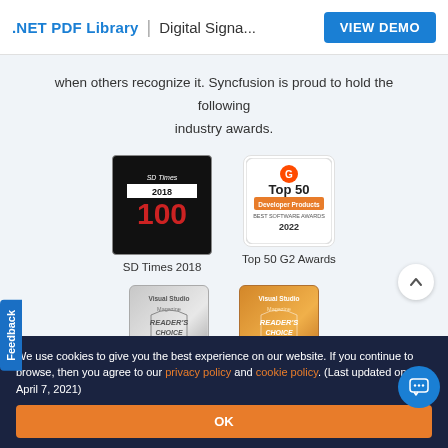.NET PDF Library | Digital Signa... VIEW DEMO
when others recognize it. Syncfusion is proud to hold the following industry awards.
[Figure (logo): SD Times 2018 award badge - black background with red 100]
SD Times 2018
[Figure (logo): Top 50 G2 Awards badge - white background with orange G2 logo and Top 50 Developer Products Best Software Awards 2022]
Top 50 G2 Awards
[Figure (logo): Visual Studio Magazine Reader's Choice 2022 silver badge]
[Figure (logo): Visual Studio Magazine Reader's Choice 2022 gold badge]
We use cookies to give you the best experience on our website. If you continue to browse, then you agree to our privacy policy and cookie policy. (Last updated on: April 7, 2021)
OK